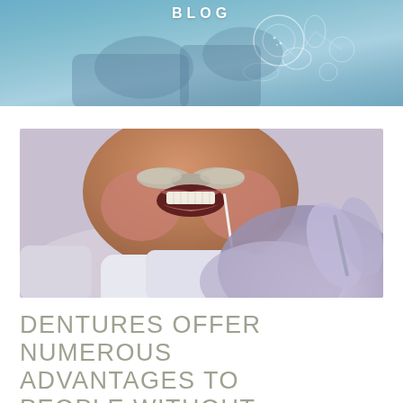BLOG
[Figure (photo): Close-up photo of an elderly man with a white/grey mustache smiling to show teeth, with a dental professional's gloved hand visible in the foreground holding a dental tool]
DENTURES OFFER NUMEROUS ADVANTAGES TO PEOPLE WITHOUT